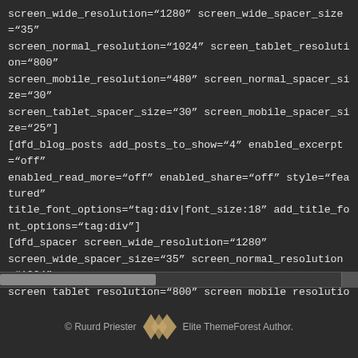screen_wide_resolution="1280" screen_wide_spacer_size="35"
screen_normal_resolution="1024" screen_tablet_resolution="800"
screen_mobile_resolution="480" screen_normal_spacer_size="30"
screen_tablet_spacer_size="30" screen_mobile_spacer_size="25"]
[dfd_blog_posts add_posts_to_show="4" enabled_excerpt="off"
enabled_read_more="off" enabled_share="off" style="featured"
title_font_options="tag:div|font_size:18" add_title_font_options="tag:div"]
[dfd_spacer screen_wide_resolution="1280"
screen_wide_spacer_size="35" screen_normal_resolution="1024"
screen_tablet_resolution="800" screen_mobile_resolution="480"
screen_normal_spacer_size="30" screen_tablet_spacer_size="30"
screen_mobile_spacer_size="25"][/vc_column_inner][/vc_row_inner]
[/vc_column][/vc_row]
© Ruurd Priester   Elite ThemeForest Author.